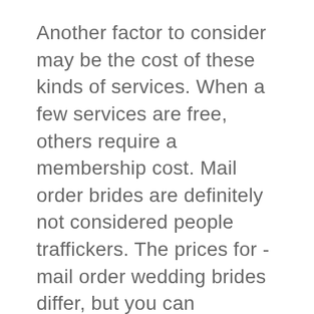Another factor to consider may be the cost of these kinds of services. When a few services are free, others require a membership cost. Mail order brides are definitely not considered people traffickers. The prices for -mail order wedding brides differ, but you can anticipate to spend $40 to $80 per month over a membership, according to platform you choose. However